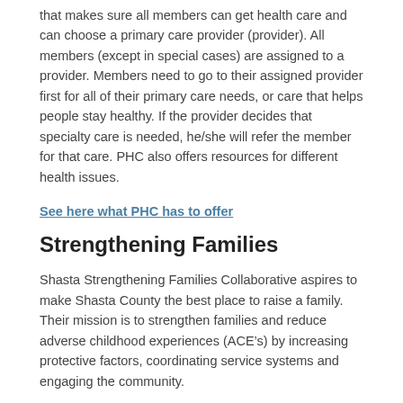that makes sure all members can get health care and can choose a primary care provider (provider). All members (except in special cases) are assigned to a provider. Members need to go to their assigned provider first for all of their primary care needs, or care that helps people stay healthy. If the provider decides that specialty care is needed, he/she will refer the member for that care. PHC also offers resources for different health issues.
See here what PHC has to offer
Strengthening Families
Shasta Strengthening Families Collaborative aspires to make Shasta County the best place to raise a family. Their mission is to strengthen families and reduce adverse childhood experiences (ACE’s) by increasing protective factors, coordinating service systems and engaging the community.
For more information on Strengthening Families
HEALTH EDUCATION